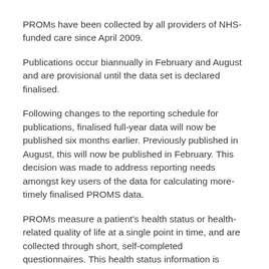PROMs have been collected by all providers of NHS-funded care since April 2009.
Publications occur biannually in February and August and are provisional until the data set is declared finalised.
Following changes to the reporting schedule for publications, finalised full-year data will now be published six months earlier. Previously published in August, this will now be published in February. This decision was made to address reporting needs amongst key users of the data for calculating more-timely finalised PROMS data.
PROMs measure a patient's health status or health-related quality of life at a single point in time, and are collected through short, self-completed questionnaires. This health status information is collected before and after a procedure and provides an indication of the outcomes or quality of care delivered to NHS patients.